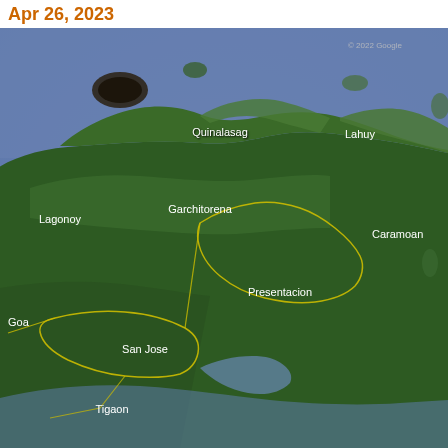Apr 26, 2023
[Figure (map): Google satellite map showing the Caramoan Peninsula area in Camarines Sur, Philippines. Shows municipalities labeled in white text: Quinalasag, Lahuy, Lagonoy, Garchitorena, Caramoan, Goa, Presentacion, San Jose, Tigaon. Yellow boundary lines outline municipal borders. Copyright 2022 Google visible in upper right. Land appears as green forested areas surrounded by blue-purple ocean water.]